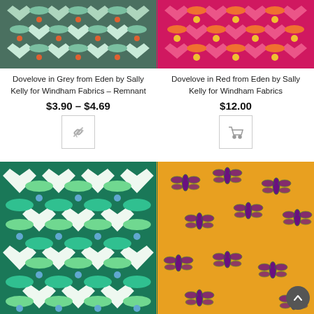[Figure (photo): Dovelove in Grey fabric pattern - dark green/teal background with white hearts and dove birds, orange/red flowers, repeating pattern]
Dovelove in Grey from Eden by Sally Kelly for Windham Fabrics – Remnant
$3.90 – $4.69
[Figure (illustration): Chain/link icon inside a square button]
[Figure (photo): Dovelove in Red fabric pattern - hot pink/red background with orange birds and pink hearts, gold star flowers, repeating pattern]
Dovelove in Red from Eden by Sally Kelly for Windham Fabrics
$12.00
[Figure (illustration): Shopping cart icon inside a square button]
[Figure (photo): Dovelove in Teal fabric pattern - dark teal background with green birds and white hearts, blue flowers, repeating pattern]
[Figure (photo): Dragonfly pattern on orange/amber background - purple dragonflies scattered across with small green details]